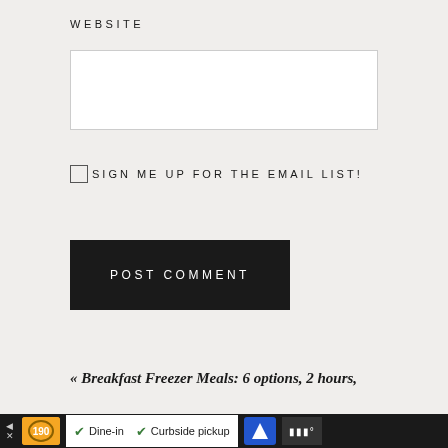WEBSITE
[Figure (other): Website text input field (empty white rectangle with border)]
SIGN ME UP FOR THE EMAIL LIST!
[Figure (other): POST COMMENT button, dark background with white text]
« Breakfast Freezer Meals: 6 options, 2 hours,
[Figure (other): Ad banner: restaurant icon, Dine-in, Curbside pickup, navigation button, logo]